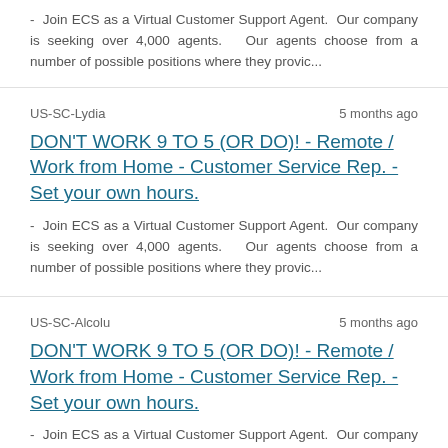- Join ECS as a Virtual Customer Support Agent. Our company is seeking over 4,000 agents.  Our agents choose from a number of possible positions where they provic...
US-SC-Lydia
5 months ago
DON'T WORK 9 TO 5 (OR DO)! - Remote / Work from Home - Customer Service Rep. - Set your own hours.
- Join ECS as a Virtual Customer Support Agent. Our company is seeking over 4,000 agents.  Our agents choose from a number of possible positions where they provic...
US-SC-Alcolu
5 months ago
DON'T WORK 9 TO 5 (OR DO)! - Remote / Work from Home - Customer Service Rep. - Set your own hours.
- Join ECS as a Virtual Customer Support Agent. Our company is seeking over 4,000 agents.  Our agents choose from a number of possible positions where they provic...